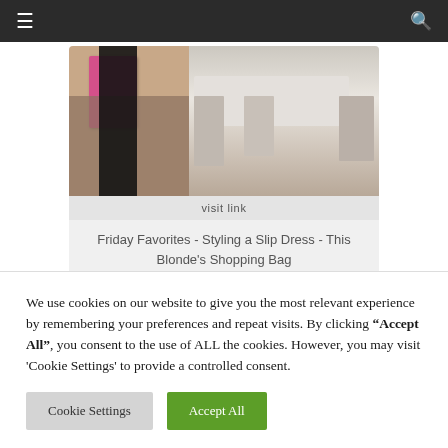≡  🔍
[Figure (photo): A person wearing a black slip dress standing in a room with a pink dresser and a white dining table with chairs in the background.]
visit link
Friday Favorites - Styling a Slip Dress - This Blonde's Shopping Bag
We use cookies on our website to give you the most relevant experience by remembering your preferences and repeat visits. By clicking "Accept All", you consent to the use of ALL the cookies. However, you may visit 'Cookie Settings' to provide a controlled consent.
Cookie Settings   Accept All